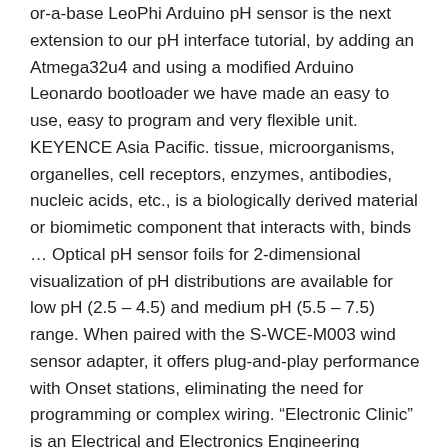or-a-base LeoPhi Arduino pH sensor is the next extension to our pH interface tutorial, by adding an Atmega32u4 and using a modified Arduino Leonardo bootloader we have made an easy to use, easy to program and very flexible unit. KEYENCE Asia Pacific. tissue, microorganisms, organelles, cell receptors, enzymes, antibodies, nucleic acids, etc., is a biologically derived material or biomimetic component that interacts with, binds … Optical pH sensor foils for 2-dimensional visualization of pH distributions are available for low pH (2.5 – 4.5) and medium pH (5.5 – 7.5) range. When paired with the S-WCE-M003 wind sensor adapter, it offers plug-and-play performance with Onset stations, eliminating the need for programming or complex wiring. "Electronic Clinic" is an Electrical and Electronics Engineering community built and run by professional electrical engineers and computer experts. On a 35mm film or full-frame digital camera, you may experience heavy vignetting. Ideally, we want a PH 0 represent 0v and a PH of 14 to represent 5V. If pre-programmed, you will get the pH value easily. The normal range for pH